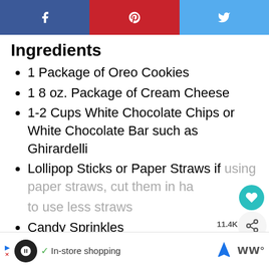[Figure (other): Social media sharing bar with Facebook (blue), Pinterest (red), and Twitter (light blue) icons]
Ingredients
1 Package of Oreo Cookies
1 8 oz. Package of Cream Cheese
1-2 Cups White Chocolate Chips or White Chocolate Bar such as Ghirardelli
Lollipop Sticks or Paper Straws if using paper straws, cut them in half to use less straws
Candy Sprinkles
[Figure (screenshot): Ad bar at bottom: In-store shopping advertisement with logo, checkmark, navigation icons]